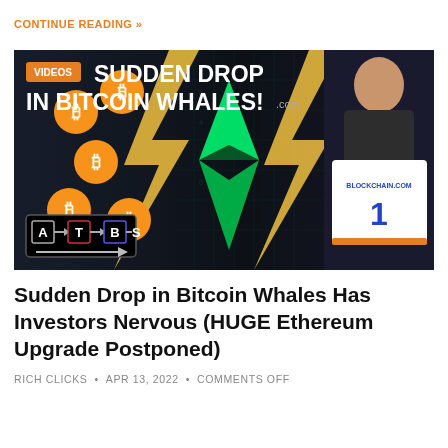CONTINUE READING »
[Figure (screenshot): Video thumbnail showing 'SUDDEN DROP IN BITCOIN WHALES!' with orange Bitcoin logos, green Ethereum diamond logo, a man holding a BLOCKCHAIN.COM jersey, and ATBS logo. Dark background with lightning bolt graphic.]
Sudden Drop in Bitcoin Whales Has Investors Nervous (HUGE Ethereum Upgrade Postponed)
RICH CLICKS • APR 13, 2022 • COMMENTS OFF